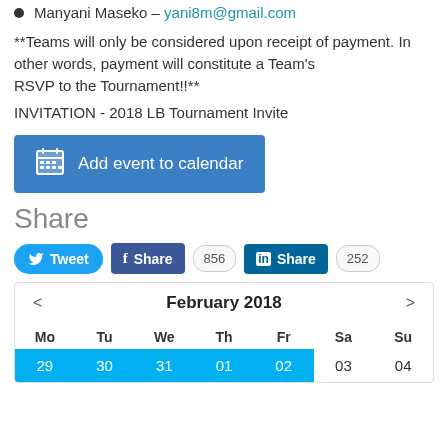Manyani Maseko – yani8m@gmail.com
**Teams will only be considered upon receipt of payment. In other words, payment will constitute a Team's
RSVP to the Tournament!!**
INVITATION - 2018 LB Tournament Invite
[Figure (other): Blue 'Add event to calendar' button with calendar icon]
Share
[Figure (other): Social sharing buttons: Tweet, Facebook Share (856), LinkedIn Share (252)]
[Figure (other): February 2018 calendar widget with navigation arrows and first row of dates 29-04 highlighted in blue]